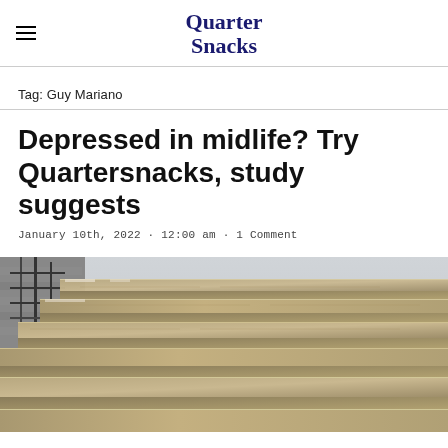Quarter Snacks
Tag: Guy Mariano
Depressed in midlife? Try Quartersnacks, study suggests
January 10th, 2022 · 12:00 am · 1 Comment
[Figure (photo): Outdoor stone staircase with metal railing, stone steps with sandy/brown coloring]